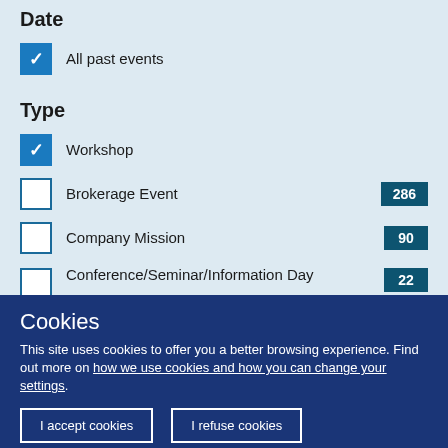Date
All past events (checked)
Type
Workshop (checked)
Brokerage Event 286
Company Mission 90
Conference/Seminar/Information Day 22
Sector Group Meeting 8
Fair/Exhibition 2
Cookies
This site uses cookies to offer you a better browsing experience. Find out more on how we use cookies and how you can change your settings.
I accept cookies | I refuse cookies